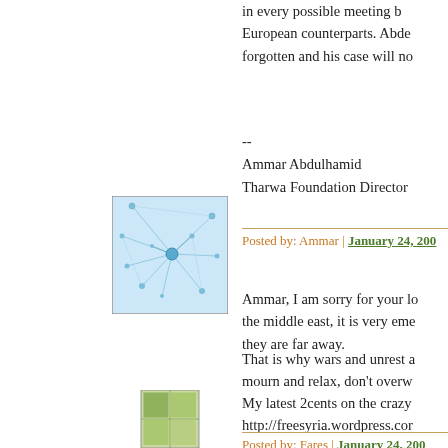in every possible meeting b... European counterparts. Abde... forgotten and his case will no...
--
Ammar Abdulhamid
Tharwa Foundation Director
Posted by: Ammar | January 24, 200...
[Figure (illustration): User avatar thumbnail showing blue network/neuron graphic on white background]
Ammar, I am sorry for your lo... the middle east, it is very eme... they are far away.
That is why wars and unrest a... mourn and relax, don't overw...
My latest 2cents on the crazy... http://freesyria.wordpress.cor...
Posted by: Fares | January 24, 200...
[Figure (illustration): User avatar thumbnail with green geometric pattern]